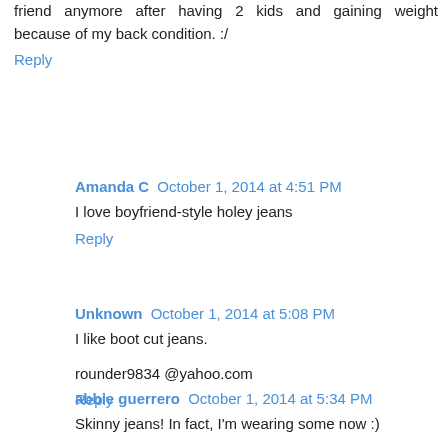friend anymore after having 2 kids and gaining weight because of my back condition. :/
Reply
Amanda C  October 1, 2014 at 4:51 PM
I love boyfriend-style holey jeans
Reply
Unknown  October 1, 2014 at 5:08 PM
I like boot cut jeans.
rounder9834 @yahoo.com
Reply
abbie guerrero  October 1, 2014 at 5:34 PM
Skinny jeans! In fact, I'm wearing some now :)